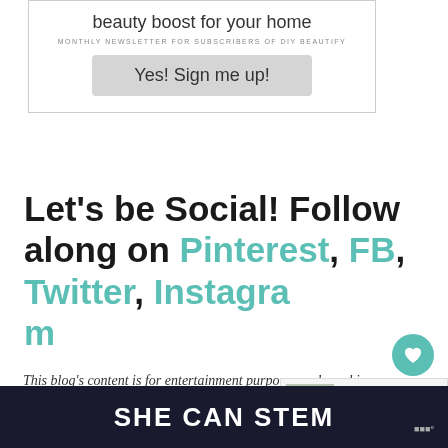[Figure (screenshot): Newsletter signup box with script title 'beauty boost for your home', subtitle 'MONTHLY NEWSLETTER FOR SUBSCRIBERS OF DIY BEAUTIFY', and a grey button 'Yes! Sign me up!']
Let's be Social! Follow along on Pinterest, FB, Twitter, Instagram
This blog's content is for entertainment purposes only and is not professional advice. By reading this blog and attempting to recreate any shared on it, you assume all responsibility for any injuries and expenses incurred. Read my full
[Figure (infographic): What's Next box showing 'Farmhouse Modern...' with a small thumbnail image]
SHE CAN STEM